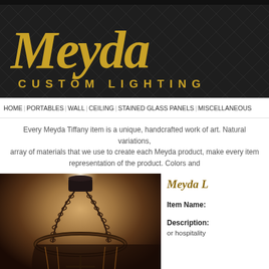[Figure (logo): Meyda Custom Lighting logo — gold script 'Meyda' over gold uppercase 'CUSTOM LIGHTING' on dark background]
HOME | PORTABLES | WALL | CEILING | STAINED GLASS PANELS | MISCELLANEOUS
Every Meyda Tiffany item is a unique, handcrafted work of art. Natural variations, array of materials that we use to create each Meyda product, make every item representation of the product. Colors and
[Figure (photo): Photo of a hanging chandelier with chain and circular metal frame, photographed from below against warm background]
Meyda L
Item Name:
Description:
or hospitality